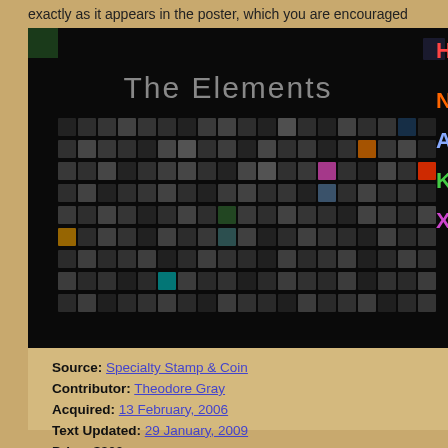exactly as it appears in the poster, which you are encouraged
[Figure (photo): The Elements periodic table poster showing photographs of element samples arranged in periodic table format on a black background]
Source: Specialty Stamp & Coin
Contributor: Theodore Gray
Acquired: 13 February, 2006
Text Updated: 29 January, 2009
Price: $300
Size: 1"
Purity: >90%
Sample Group: Coins